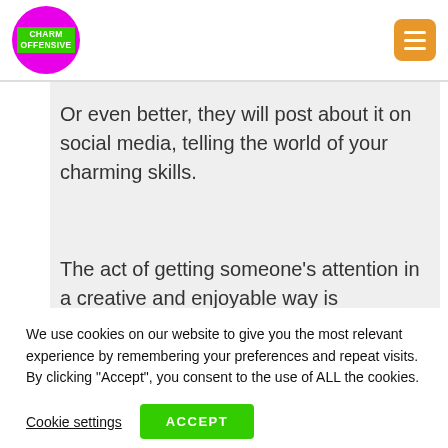[Figure (logo): Charm Offensive logo: magenta circle with green rectangle containing white bold text CHARM OFFENSIVE]
[Figure (other): Orange rounded square menu button with three white horizontal lines (hamburger menu icon)]
Or even better, they will post about it on social media, telling the world of your charming skills.
The act of getting someone’s attention in a creative and enjoyable way is persuasive in itself.
We use cookies on our website to give you the most relevant experience by remembering your preferences and repeat visits. By clicking “Accept”, you consent to the use of ALL the cookies.
Cookie settings
ACCEPT